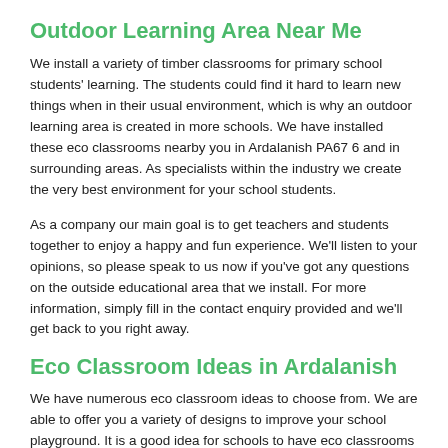Outdoor Learning Area Near Me
We install a variety of timber classrooms for primary school students' learning. The students could find it hard to learn new things when in their usual environment, which is why an outdoor learning area is created in more schools. We have installed these eco classrooms nearby you in Ardalanish PA67 6 and in surrounding areas. As specialists within the industry we create the very best environment for your school students.
As a company our main goal is to get teachers and students together to enjoy a happy and fun experience. We'll listen to your opinions, so please speak to us now if you've got any questions on the outside educational area that we install. For more information, simply fill in the contact enquiry provided and we'll get back to you right away.
Eco Classroom Ideas in Ardalanish
We have numerous eco classroom ideas to choose from. We are able to offer you a variety of designs to improve your school playground. It is a good idea for schools to have eco classrooms